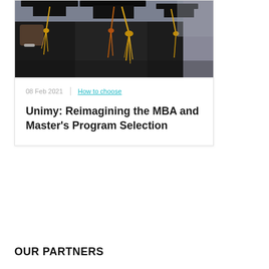[Figure (photo): Graduates in black gowns and mortarboard caps with yellow/gold tassels, seen from behind and side, holding or wearing caps]
08 Feb 2021
How to choose
Unimy: Reimagining the MBA and Master's Program Selection
OUR PARTNERS